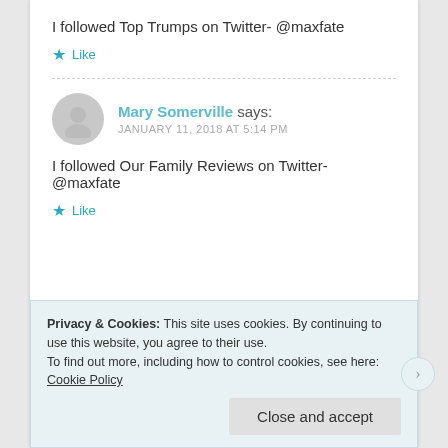I followed Top Trumps on Twitter- @maxfate
★ Like
Mary Somerville says:
JANUARY 11, 2018 AT 5:14 PM
I followed Our Family Reviews on Twitter- @maxfate
★ Like
Privacy & Cookies: This site uses cookies. By continuing to use this website, you agree to their use.
To find out more, including how to control cookies, see here: Cookie Policy
Close and accept